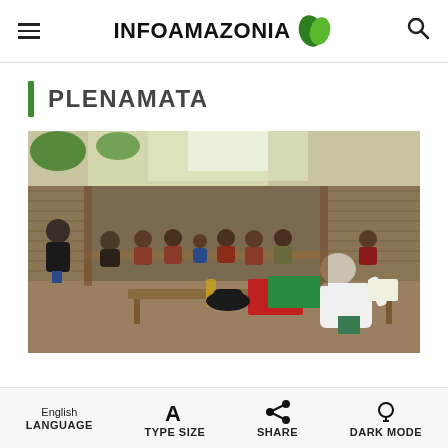INFOAMAZONIA (logo with leaf icon, hamburger menu, search icon)
PLENAMATA
[Figure (photo): Indoor community meeting in an open-sided thatched structure. A man in a white t-shirt sits at a wooden table in the foreground (back turned), facing a group of indigenous people seated on benches along the walls. Books and a bottle are on the table. Another man in dark clothing sits to the left.]
English LANGUAGE | A TYPE SIZE | Share SHARE | bulb DARK MODE